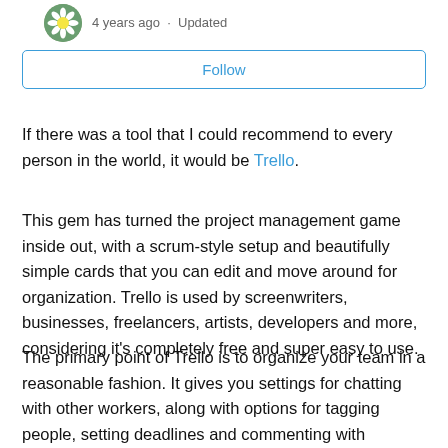4 years ago · Updated
Follow
If there was a tool that I could recommend to every person in the world, it would be Trello.
This gem has turned the project management game inside out, with a scrum-style setup and beautifully simple cards that you can edit and move around for organization. Trello is used by screenwriters, businesses, freelancers, artists, developers and more, considering it's completely free and super easy to use.
The primary point of Trello is to organize your team in a reasonable fashion. It gives you settings for chatting with other workers, along with options for tagging people, setting deadlines and commenting with different attachments and media items.